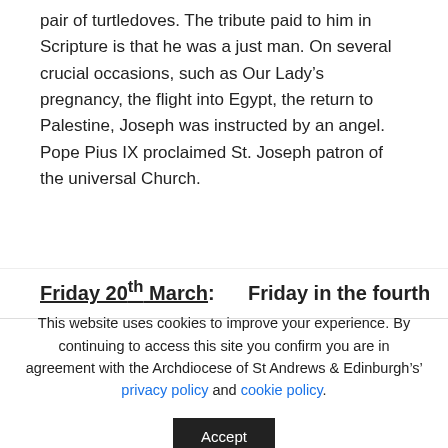pair of turtledoves. The tribute paid to him in Scripture is that he was a just man. On several crucial occasions, such as Our Lady's pregnancy, the flight into Egypt, the return to Palestine, Joseph was instructed by an angel. Pope Pius IX proclaimed St. Joseph patron of the universal Church.
Friday 20th March:   Friday in the fourth
This website uses cookies to improve your experience. By continuing to access this site you confirm you are in agreement with the Archdiocese of St Andrews & Edinburgh's' privacy policy and cookie policy.